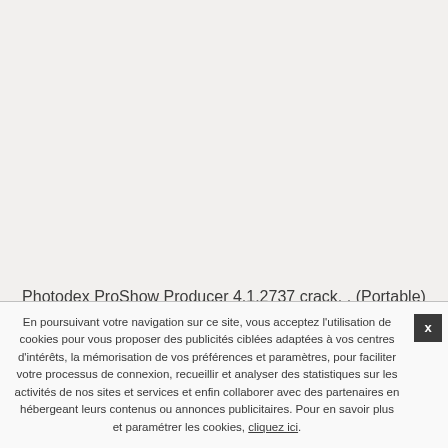Photodex ProShow Producer 4.1.2737 crack. . (Portable) FileFactory. Live .Photodex ProShow Producer 4.0.2477 .
En poursuivant votre navigation sur ce site, vous acceptez l'utilisation de cookies pour vous proposer des publicités ciblées adaptées à vos centres d'intérêts, la mémorisation de vos préférences et paramètres, pour faciliter votre processus de connexion, recueillir et analyser des statistiques sur les activités de nos sites et services et enfin collaborer avec des partenaires en hébergeant leurs contenus ou annonces publicitaires. Pour en savoir plus et paramétrer les cookies, cliquez ici.